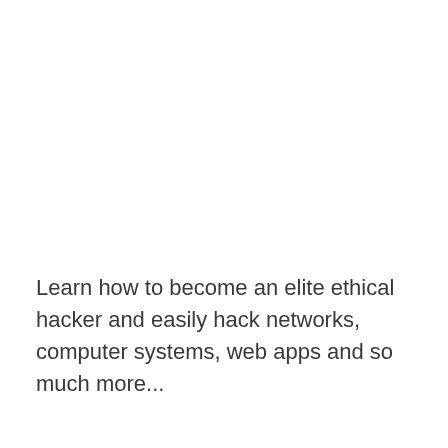Learn how to become an elite ethical hacker and easily hack networks, computer systems, web apps and so much more...